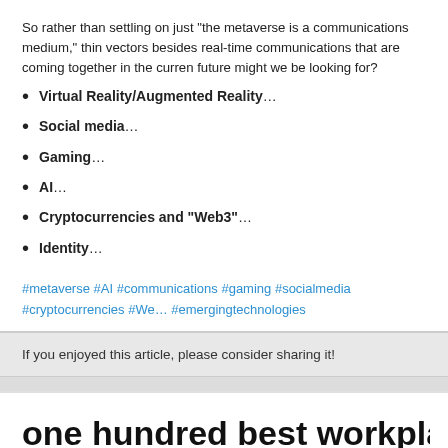So rather than settling on just “the metaverse is a communications medium,” think about vectors besides real-time communications that are coming together in the current future might we be looking for?
Virtual Reality/Augmented Reality…
Social media…
Gaming…
AI…
Cryptocurrencies and “Web3”…
Identity…
#metaverse #AI #communications #gaming #socialmedia #cryptocurrencies #Web3 #emergingtechnologies
If you enjoyed this article, please consider sharing it!
one hundred best workplaces for inno